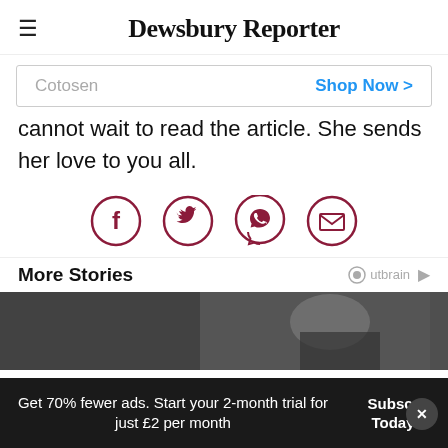Dewsbury Reporter
[Figure (screenshot): Advertisement banner: Cotosen | Shop Now > | again, and]
cannot wait to read the article. She sends her love to you all.
[Figure (infographic): Social share icons: Facebook, Twitter, WhatsApp, Email — dark red circles]
More Stories
[Figure (photo): Outbrain sponsored stories image — woman with hair up, dark background]
Get 70% fewer ads. Start your 2-month trial for just £2 per month
Subscribe Today